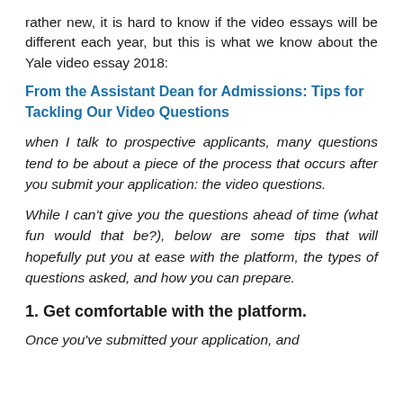rather new, it is hard to know if the video essays will be different each year, but this is what we know about the Yale video essay 2018:
From the Assistant Dean for Admissions: Tips for Tackling Our Video Questions
when I talk to prospective applicants, many questions tend to be about a piece of the process that occurs after you submit your application: the video questions.
While I can't give you the questions ahead of time (what fun would that be?), below are some tips that will hopefully put you at ease with the platform, the types of questions asked, and how you can prepare.
1. Get comfortable with the platform.
Once you've submitted your application, and